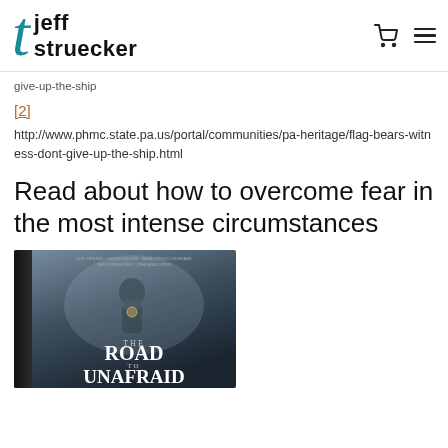jeff struecker (logo with stylized T)
give-up-the-ship
[2]
http://www.phmc.state.pa.us/portal/communities/pa-heritage/flag-bears-witness-dont-give-up-the-ship.html
Read about how to overcome fear in the most intense circumstances
[Figure (photo): Book cover of 'The Road to Unafraid' with a figure in a misty/dramatic background]